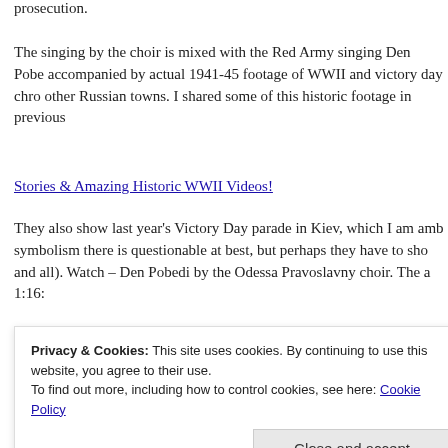prosecution.
The singing by the choir is mixed with the Red Army singing Den Pobe accompanied by actual 1941-45 footage of WWII and victory day chro other Russian towns. I shared some of this historic footage in previous
Stories & Amazing Historic WWII Videos!
They also show last year's Victory Day parade in Kiev, which I am amb symbolism there is questionable at best, but perhaps they have to sho and all). Watch – Den Pobedi by the Odessa Pravoslavny choir. The a 1:16:
[Figure (screenshot): Video thumbnail showing Russian text 'С Днём Победы!' and 'ПЕСНИ ВОЕННЫХ ЛЕТ' on a golden banner with a sky background and a circular city icon]
Privacy & Cookies: This site uses cookies. By continuing to use this website, you agree to their use.
To find out more, including how to control cookies, see here: Cookie Policy
Close and accept